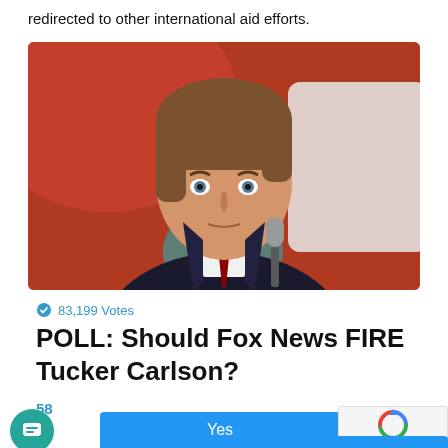redirected to other international aid efforts.
[Figure (photo): A man in a dark suit and tie holding a microphone, standing in front of a red and white background, looking serious.]
83,199 Votes
POLL: Should Fox News FIRE Tucker Carlson?
58
Yes